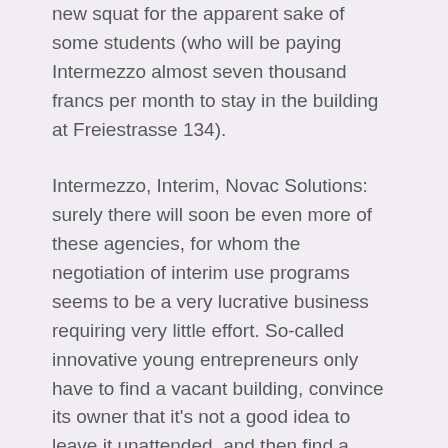new squat for the apparent sake of some students (who will be paying Intermezzo almost seven thousand francs per month to stay in the building at Freiestrasse 134).
Intermezzo, Interim, Novac Solutions: surely there will soon be even more of these agencies, for whom the negotiation of interim use programs seems to be a very lucrative business requiring very little effort. So-called innovative young entrepreneurs only have to find a vacant building, convince its owner that it's not a good idea to leave it unattended, and then find a couple undiscerning people to live there. Voilà.
That these students allow themselves to be exploited—they are paying extremely high rent without any tenants' rights—and have simultaneously (even if unintentionally and indirectly) chased off a squat, and that they won't consider dropping the deal or even at least releasing a statement, is difficult for us to understand. It will make for